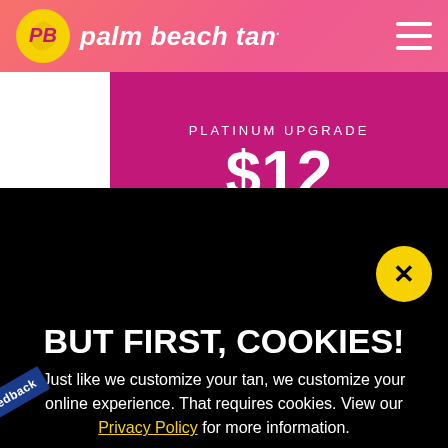[Figure (logo): Palm Beach Tan logo with sun/wave icon and italic white bold text on pink/coral gradient header]
PLATINUM UPGRADE
$12
per session
[Figure (photo): Three cookies: white chocolate chip, chocolate chip, and double chocolate/brownie cookies arranged overlapping on black background]
BUT FIRST, COOKIES!
Just like we customize your tan, we customize your online experience. That requires cookies. View our Privacy Policy for more information.